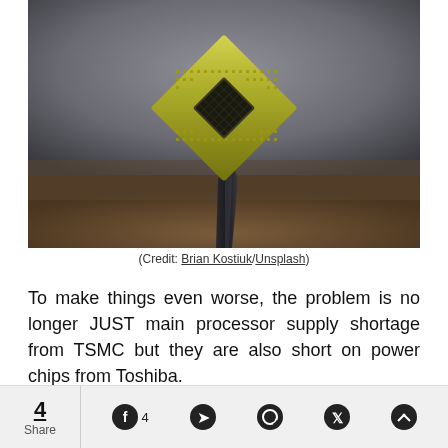[Figure (photo): A gold-colored CPU/processor chip held by tweezers against a blurred grey and brown background, photographed from below at an angle.]
(Credit: Brian Kostiuk/Unsplash)
To make things even worse, the problem is no longer JUST main processor supply shortage from TSMC but they are also short on power chips from Toshiba.